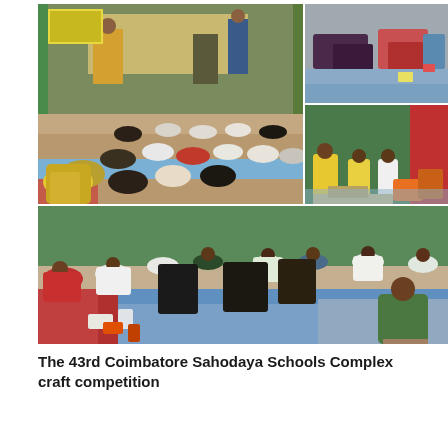[Figure (photo): A collage of four photographs showing students sitting on the floor of a large hall participating in a craft competition. Top-left: wide shot of many students seated on a colorful tiled floor with organisers/stage visible in the background. Top-right top: bags and belongings on a blue/grey tiled floor. Top-right bottom: students in uniforms with yellow vests working on craft projects spread on the floor near a red wall. Bottom: panoramic view of students across the hall working on craft activities on a blue and red tiled floor.]
The 43rd Coimbatore Sahodaya Schools Complex craft competition